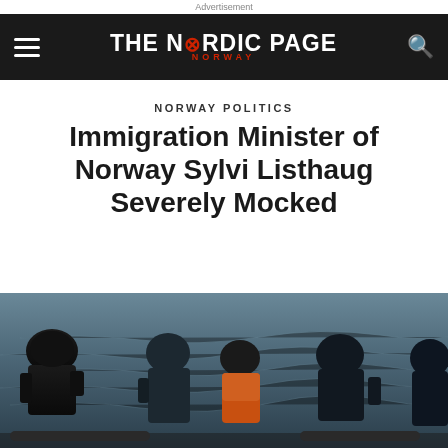Advertisement
THE NORDIC PAGE NORWAY
NORWAY POLITICS
Immigration Minister of Norway Sylvi Listhaug Severely Mocked
[Figure (photo): People in wetsuits on a rubber boat or raft on open water, one person wearing an orange life vest, viewed from behind or side]